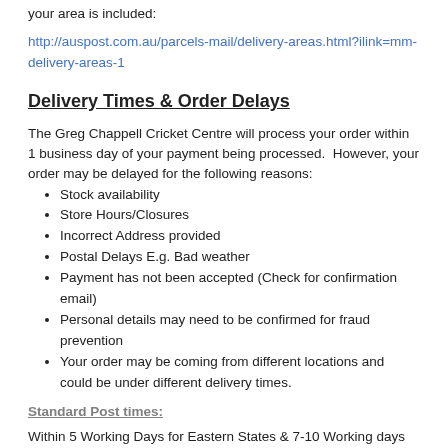your area is included:
http://auspost.com.au/parcels-mail/delivery-areas.html?ilink=mm-delivery-areas-1
Delivery Times & Order Delays
The Greg Chappell Cricket Centre will process your order within 1 business day of your payment being processed.  However, your order may be delayed for the following reasons:
Stock availability
Store Hours/Closures
Incorrect Address provided
Postal Delays E.g. Bad weather
Payment has not been accepted (Check for confirmation email)
Personal details may need to be confirmed for fraud prevention
Your order may be coming from different locations and could be under different delivery times.
Standard Post times:
Within 5 Working Days for Eastern States & 7-10 Working days for